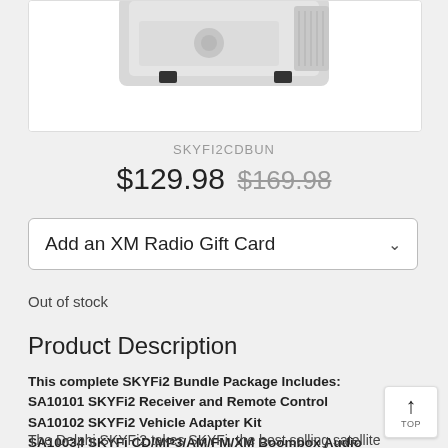[Figure (photo): Partial product image of SKYFi2 CD/MP3 Boombox bundle showing device at top, partially cropped, white background]
SKYFI2CDBUN
$129.98 $169.98
Add an XM Radio Gift Card
Out of stock
Product Description
This complete SKYFi2 Bundle Package Includes:
SA10101 SKYFi2 Receiver and Remote Control
SA10102 SKYFi2 Vehicle Adapter Kit
SA10034 SKYFi CD/MP3/AM/FM/XM Boombox Audio System
The Delphi SKYFi2 takes SKYFi, the best selling satellite radio receiver ever, and makes it even better by adding several new e...